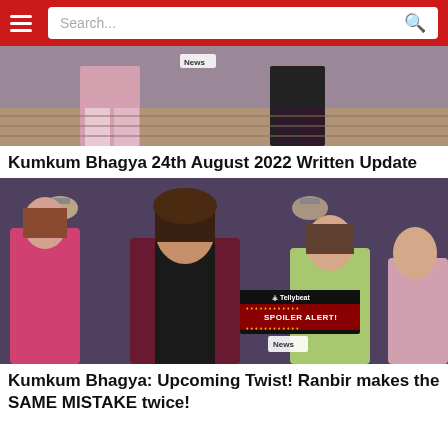Search...
[Figure (photo): TV drama still showing lower bodies of two people in a hallway, one in pink/rose outfit, one in dark clothing. A 'News' watermark badge visible.]
Kumkum Bhagya 24th August 2022 Written Update
[Figure (photo): TV drama still from Kumkum Bhagya showing a young man in a maroon blazer and black shirt in the foreground, with three women behind him. A 'Spoiler Alert' and 'News' badge overlay visible.]
Kumkum Bhagya: Upcoming Twist! Ranbir makes the SAME MISTAKE twice!